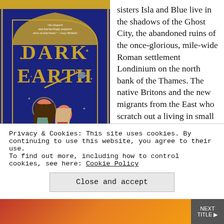[Figure (illustration): Book cover of 'Dark Earth' by Rebecca Stott. Dark blue background with arched frame, gold title text 'DARK EARTH', two stylized women figures, one dark-haired and one with braids, a bird, stars, red flames, green plants. Tagline: 'An eloquent and heartachingly poignant story of sisterhood.' — Lucy Holland. Subtitle: A Novel. Author: Rebecca Stott, Bestselling Author of Ghostwalk.]
sisters Isla and Blue live in the shadows of the Ghost City, the abandoned ruins of the once-glorious, mile-wide Roman settlement Londinium on the north bank of the Thames. The native Britons and the new migrants from the East who scratch out a living in small wooden camps in its hinterland fear that the crumbling stone ruins are
Privacy & Cookies: This site uses cookies. By continuing to use this website, you agree to their use.
To find out more, including how to control cookies, see here: Cookie Policy
Close and accept